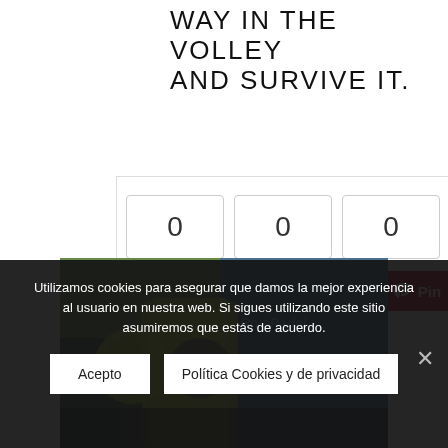WAY IN THE VOLLEY AND SURVIVE IT.
[Figure (screenshot): Social share widget with three count boxes showing 0, 0, 0 and Share (Facebook), Tweet (Twitter), Pin (Pinterest) buttons]
[Figure (photo): A man in a yellow jacket playing padel at a Rivapadel court, holding a padel racket with a yellow ball]
Utilizamos cookies para asegurar que damos la mejor experiencia al usuario en nuestra web. Si sigues utilizando este sitio asumiremos que estás de acuerdo.
Acepto
Política Cookies y de privacidad